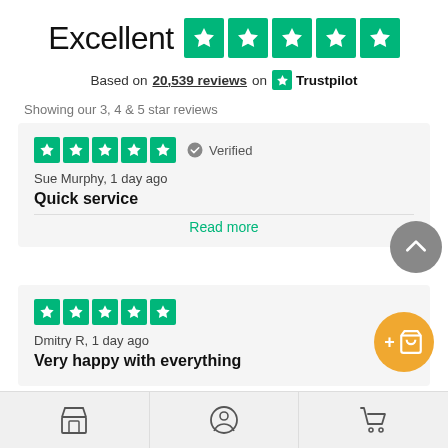[Figure (infographic): Trustpilot rating: Excellent with 5 green star boxes]
Based on 20,539 reviews on Trustpilot
Showing our 3, 4 & 5 star reviews
[Figure (infographic): Review card 1: 5 green stars, Verified. Sue Murphy, 1 day ago. Quick service. Read more.]
[Figure (infographic): Review card 2: 5 green stars. Dmitry R, 1 day ago. Very happy with everything.]
[Figure (infographic): Bottom navigation bar with store icon, user icon, and cart icon]